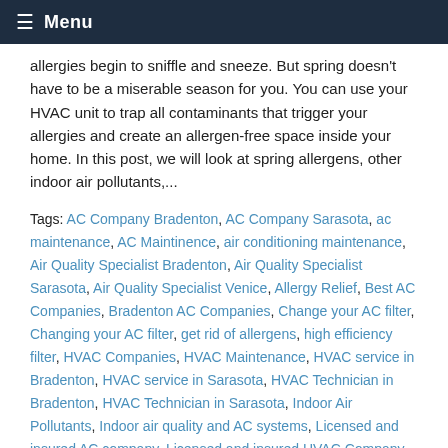Menu
allergies begin to sniffle and sneeze. But spring doesn't have to be a miserable season for you. You can use your HVAC unit to trap all contaminants that trigger your allergies and create an allergen-free space inside your home. In this post, we will look at spring allergens, other indoor air pollutants,...
Tags: AC Company Bradenton, AC Company Sarasota, ac maintenance, AC Maintinence, air conditioning maintenance, Air Quality Specialist Bradenton, Air Quality Specialist Sarasota, Air Quality Specialist Venice, Allergy Relief, Best AC Companies, Bradenton AC Companies, Change your AC filter, Changing your AC filter, get rid of allergens, high efficiency filter, HVAC Companies, HVAC Maintenance, HVAC service in Bradenton, HVAC service in Sarasota, HVAC Technician in Bradenton, HVAC Technician in Sarasota, Indoor Air Pollutants, Indoor air quality and AC systems, Licensed and insured AC company, Licensed and insured HVAC Company, Local AC Companies, Local AC Repair, MERV rating, professional AC service, Remove pollutants from the air,